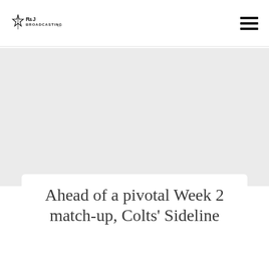R&J Broadcasting
[Figure (logo): R&J Broadcasting logo — stylized text with a star/arrow emblem]
Ahead of a pivotal Week 2 match-up, Colts' Sideline